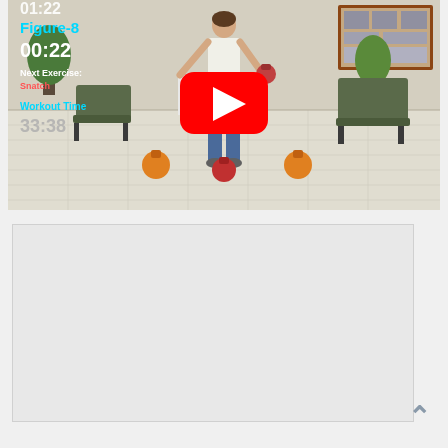[Figure (screenshot): YouTube video thumbnail showing a kettlebell workout. A person stands in a gym/office-like room holding a kettlebell, with three kettlebells on the floor. Overlay text shows: timer '01:22' at top, 'Figure-8' in cyan, '00:22' countdown, 'Next Exercise: Snatch' in red, 'Workout Time' in cyan, '33:38' in gray. A large YouTube play button is centered on the image.]
[Figure (screenshot): Empty light gray placeholder box, likely an advertisement or embedded content area.]